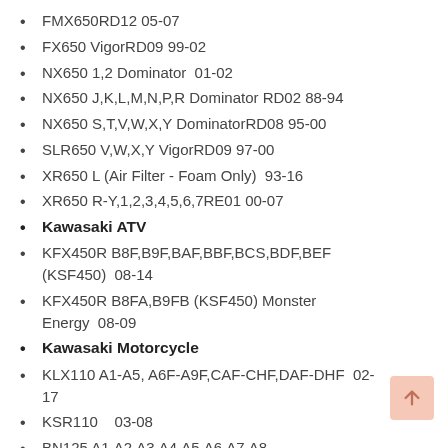FMX650RD12 05-07
FX650 VigorRD09 99-02
NX650 1,2 Dominator  01-02
NX650 J,K,L,M,N,P,R Dominator RD02 88-94
NX650 S,T,V,W,X,Y DominatorRD08 95-00
SLR650 V,W,X,Y VigorRD09 97-00
XR650 L (Air Filter - Foam Only)  93-16
XR650 R-Y,1,2,3,4,5,6,7RE01 00-07
Kawasaki ATV
KFX450R B8F,B9F,BAF,BBF,BCS,BDF,BEF (KSF450)  08-14
KFX450R B8FA,B9FB (KSF450) Monster Energy  08-09
Kawasaki Motorcycle
KLX110 A1-A5, A6F-A9F,CAF-CHF,DAF-DHF  02-17
KSR110   03-08
BN125 A1,A2,A3,A4,A5,A6,A7,A8, A6F,A7F,A8F,A9F Eliminator  98-09